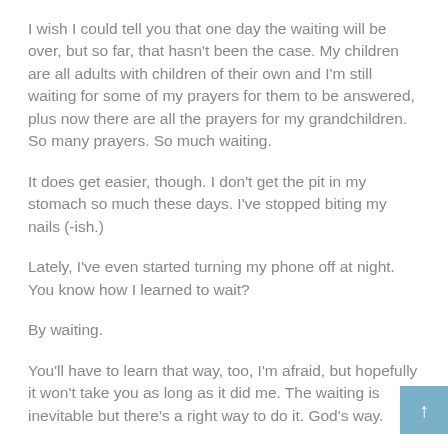I wish I could tell you that one day the waiting will be over, but so far, that hasn't been the case. My children are all adults with children of their own and I'm still waiting for some of my prayers for them to be answered, plus now there are all the prayers for my grandchildren. So many prayers. So much waiting.
It does get easier, though. I don't get the pit in my stomach so much these days. I've stopped biting my nails (-ish.)
Lately, I've even started turning my phone off at night. You know how I learned to wait?
By waiting.
You'll have to learn that way, too, I'm afraid, but hopefully it won't take you as long as it did me. The waiting is inevitable but there's a right way to do it. God's way.